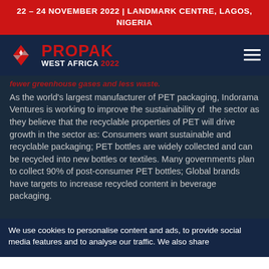22 – 24 NOVEMBER 2022 | LANDMARK CENTRE, LAGOS, NIGERIA
[Figure (logo): Propak West Africa 2022 logo with red diamond graphic and navigation bar on dark navy background]
fewer greenhouse gases and less waste.
As the world's largest manufacturer of PET packaging, Indorama Ventures is working to improve the sustainability of the sector as they believe that the recyclable properties of PET will drive growth in the sector as: Consumers want sustainable and recyclable packaging; PET bottles are widely collected and can be recycled into new bottles or textiles. Many governments plan to collect 90% of post-consumer PET bottles; Global brands have targets to increase recycled content in beverage packaging.
We use cookies to personalise content and ads, to provide social media features and to analyse our traffic. We also share